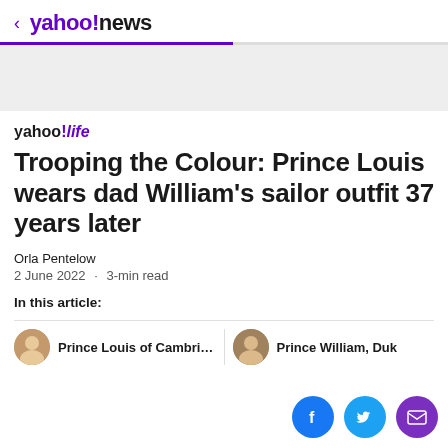< yahoo!news
[Figure (other): Ad banner / gray placeholder area]
yahoo!life
Trooping the Colour: Prince Louis wears dad William's sailor outfit 37 years later
Orla Pentelow
2 June 2022 · 3-min read
In this article:
Prince Louis of Cambridge
Prince William, Duk